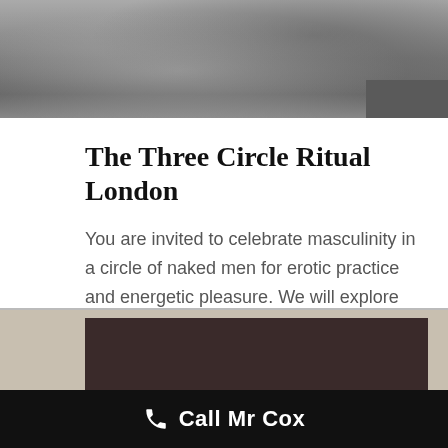[Figure (photo): Black and white photograph of a man looking upward, partially cropped at top of page]
The Three Circle Ritual London
You are invited to celebrate masculinity in a circle of naked men for erotic practice and energetic pleasure. We will explore new ways to generate erotic energy. We begin with the Loving Kindness Meditation Self [...]
[Figure (photo): Partially visible framed photograph at bottom of page]
Call Mr Cox